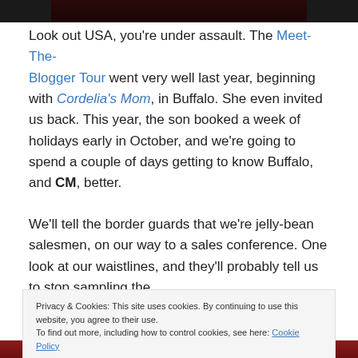[Figure (photo): Dark/black top image banner, partial view of a photo]
Look out USA, you're under assault. The Meet-The-Blogger Tour went very well last year, beginning with Cordelia's Mom, in Buffalo. She even invited us back. This year, the son booked a week of holidays early in October, and we're going to spend a couple of days getting to know Buffalo, and CM, better.
We'll tell the border guards that we're jelly-bean salesmen, on our way to a sales conference. One look at our waistlines, and they'll probably tell us to stop sampling the
Privacy & Cookies: This site uses cookies. By continuing to use this website, you agree to their use.
To find out more, including how to control cookies, see here: Cookie Policy
[Figure (photo): Bottom image, partial view of a reddish/maroon photo]